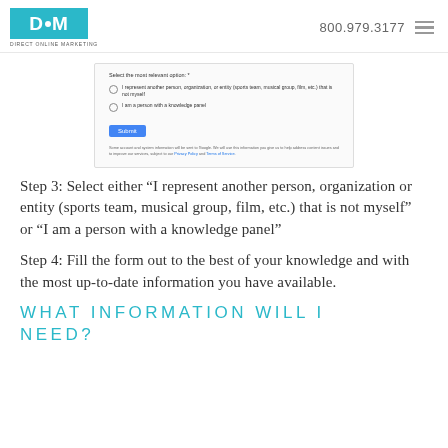DOM - Direct Online Marketing | 800.979.3177
[Figure (screenshot): Screenshot of a Google form with two radio button options: 'I represent another person, organization, or entity (sports team, musical group, film, etc.) that is not myself' and 'I am a person with a knowledge panel', plus a Submit button and privacy footnote text.]
Step 3: Select either “I represent another person, organization or entity (sports team, musical group, film, etc.) that is not myself” or “I am a person with a knowledge panel”
Step 4: Fill the form out to the best of your knowledge and with the most up-to-date information you have available.
WHAT INFORMATION WILL I NEED?